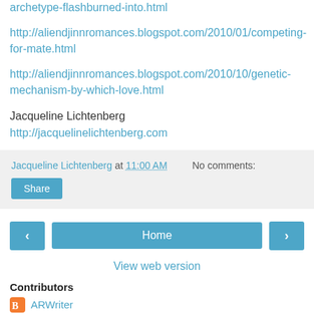archetype-flashburned-into.html
http://aliendjinnromances.blogspot.com/2010/01/competing-for-mate.html
http://aliendjinnromances.blogspot.com/2010/10/genetic-mechanism-by-which-love.html
Jacqueline Lichtenberg
http://jacquelinelichtenberg.com
Jacqueline Lichtenberg at 11:00 AM    No comments:
Share
Home
View web version
Contributors
ARWriter